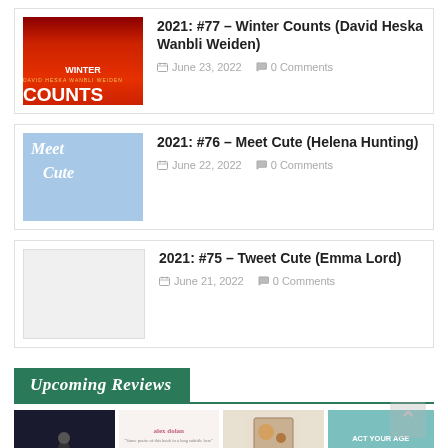[Figure (illustration): Book cover for Winter Counts by David Heska Wanbli Weiden – red background with large white text]
2021: #77 – Winter Counts (David Heska Wanbli Weiden)
June 23, 2022   0 Comments
[Figure (illustration): Book cover for Meet Cute by Helena Hunting – blue/purple background with illustrated characters]
2021: #76 – Meet Cute (Helena Hunting)
June 22, 2022   0 Comments
2021: #75 – Tweet Cute (Emma Lord)
June 21, 2022   0 Comments
Upcoming Reviews
[Figure (illustration): Strip of four book cover thumbnails for upcoming reviews]